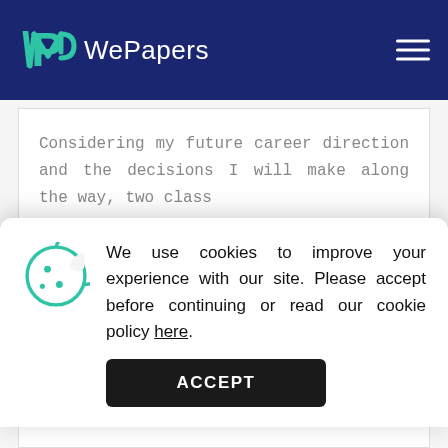WePapers
Considering my future career direction and the decisions I will make along the way, two class
We use cookies to improve your experience with our site. Please accept before continuing or read our cookie policy here.
to disasters of all kinds from natural catastrophes to human-made ones such as arson and vandalism. And in order for business leaders to bounce back from such unfavorable